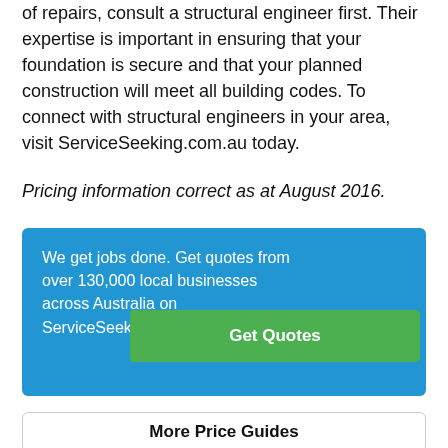of repairs, consult a structural engineer first. Their expertise is important in ensuring that your foundation is secure and that your planned construction will meet all building codes. To connect with structural engineers in your area, visit ServiceSeeking.com.au today.
Pricing information correct as at August 2016.
We get jobs done. Get quotes from over 130,000 local businesses across Australia on ServiceSeeking Get Quotes
More Price Guides